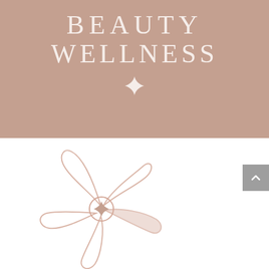[Figure (logo): Beauty Wellness brand logo. Top half: muted rose/mauve background with white serif text reading BEAUTY WELLNESS and a four-pointed star symbol below. Bottom half: white background with a stylized plumeria/frangipani flower outline in pale rose tones with a small four-pointed star in the center.]
BEAUTY WELLNESS